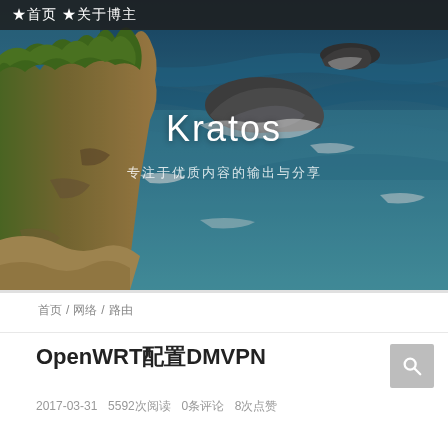★首页 ★关于博主
[Figure (photo): Aerial view of rocky coastline with ocean waves and green cliffs, hero banner image for blog]
Kratos
专注于优质内容的输出与分享
首页 / 网络 / 路由
OpenWRT配置DMVPN
2017-03-31  5592次阅读  0条评论  8次点赞